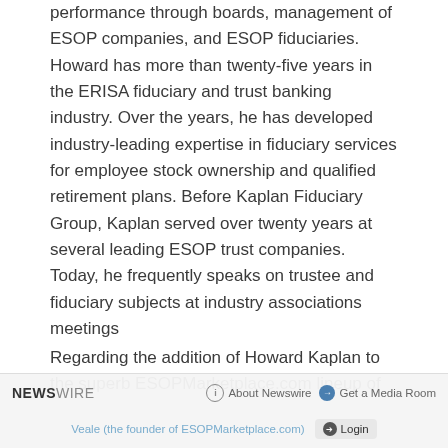performance through boards, management of ESOP companies, and ESOP fiduciaries. Howard has more than twenty-five years in the ERISA fiduciary and trust banking industry. Over the years, he has developed industry-leading expertise in fiduciary services for employee stock ownership and qualified retirement plans. Before Kaplan Fiduciary Group, Kaplan served over twenty years at several leading ESOP trust companies. Today, he frequently speaks on trustee and fiduciary subjects at industry associations meetings
Regarding the addition of Howard Kaplan to the superb ESOPMarketplace.com lineup of
NEWSWIRE | About Newswire | Get a Media Room | Veale (the founder of ESOPMarketplace.com) | Login